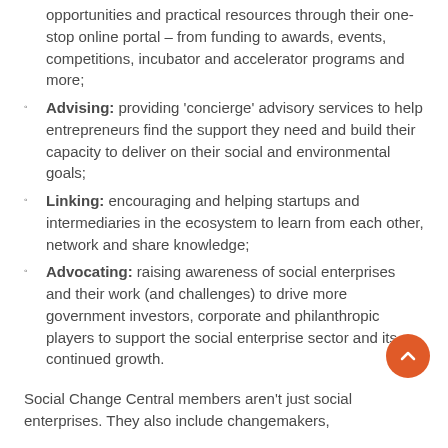opportunities and practical resources through their one-stop online portal – from funding to awards, events, competitions, incubator and accelerator programs and more;
Advising: providing 'concierge' advisory services to help entrepreneurs find the support they need and build their capacity to deliver on their social and environmental goals;
Linking: encouraging and helping startups and intermediaries in the ecosystem to learn from each other, network and share knowledge;
Advocating: raising awareness of social enterprises and their work (and challenges) to drive more government investors, corporate and philanthropic players to support the social enterprise sector and its continued growth.
Social Change Central members aren't just social enterprises. They also include changemakers, changemakers and charities, communities and